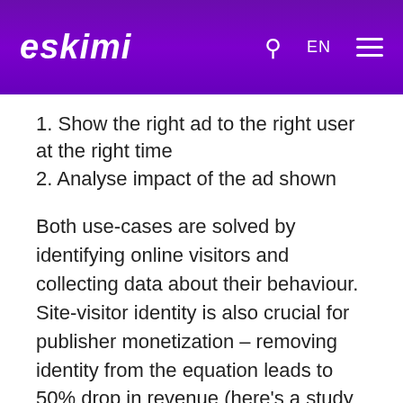ESKIMI
1. Show the right ad to the right user at the right time
2. Analyse impact of the ad shown
Both use-cases are solved by identifying online visitors and collecting data about their behaviour.  Site-visitor identity is also crucial for publisher monetization – removing identity from the equation leads to 50% drop in revenue (here's a study by Google).
How is tracking done today